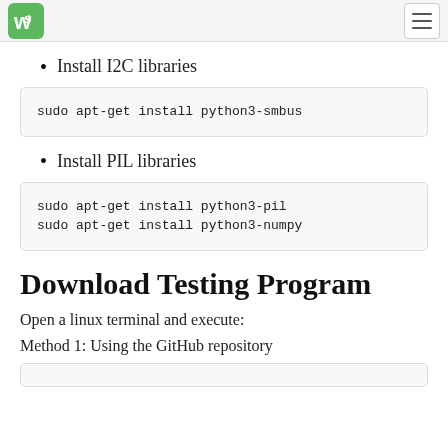WS logo and navigation
Install I2C libraries
sudo apt-get install python3-smbus
Install PIL libraries
sudo apt-get install python3-pil
sudo apt-get install python3-numpy
Download Testing Program
Open a linux terminal and execute:
Method 1: Using the GitHub repository